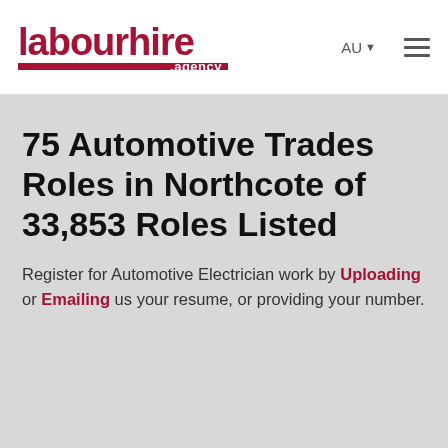labourhire .agency | AU | menu
75 Automotive Trades Roles in Northcote of 33,853 Roles Listed
Register for Automotive Electrician work by Uploading or Emailing us your resume, or providing your number.